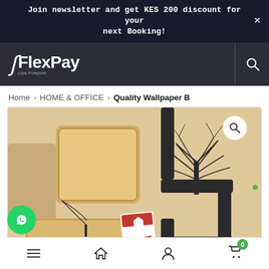Join newsletter and get KES 200 discount for your next Booking!
[Figure (logo): FlexPay logo with stylized F and tagline 'Lipa Polepole' on dark background]
Home > HOME & OFFICE > Quality Wallpaper B
[Figure (photo): Wallpaper product image showing 3D geometric cube shelves in beige/tan color with a tree silhouette design on the right side, and a small product tag in the lower center]